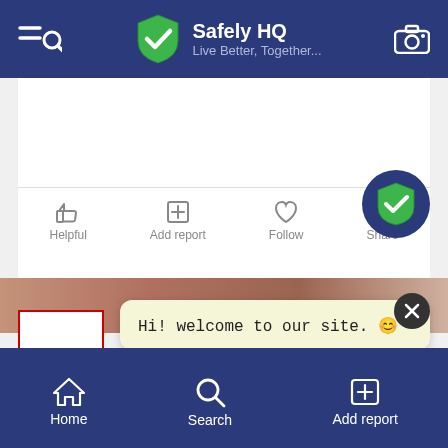[Figure (screenshot): Mobile app screenshot of Safely HQ app. Top navigation bar with menu/search icon, Safely HQ logo (green shield with checkmark), brand name 'Safely HQ' and tagline 'Live Better, Together...', and camera icon. Main content area shows a white card, a brownish image strip, a red-bordered profile box, and two light-yellow tooltip/chat bubbles: one with text 'Hi! welcome to our site. 😊' and a close X button, and one with typing dots '...'. A heart-like counter shows 755. Action bar has Helpful, Add report, Follow, Share buttons. Bottom navigation has Home, Search, Add report tabs. A circular dark-blue badge with green shield checkmark appears near the Share button.]